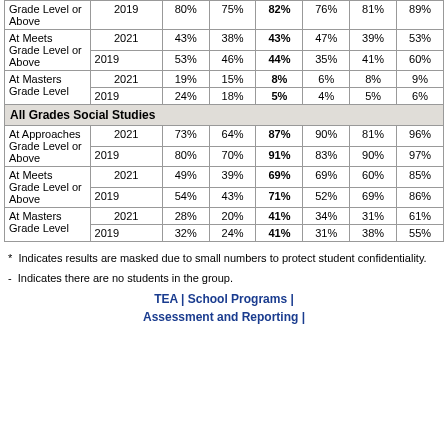|  | Year | State | District | Campus | Col5 | Col6 | Col7 |
| --- | --- | --- | --- | --- | --- | --- | --- |
| Grade Level or Above (cont.) | 2019 | 80% | 75% | 82% | 76% | 81% | 89% |
| At Meets Grade Level or Above | 2021 | 43% | 38% | 43% | 47% | 39% | 53% |
| At Meets Grade Level or Above | 2019 | 53% | 46% | 44% | 35% | 41% | 60% |
| At Masters Grade Level | 2021 | 19% | 15% | 8% | 6% | 8% | 9% |
| At Masters Grade Level | 2019 | 24% | 18% | 5% | 4% | 5% | 6% |
| All Grades Social Studies |  |  |  |  |  |  |  |
| At Approaches Grade Level or Above | 2021 | 73% | 64% | 87% | 90% | 81% | 96% |
| At Approaches Grade Level or Above | 2019 | 80% | 70% | 91% | 83% | 90% | 97% |
| At Meets Grade Level or Above | 2021 | 49% | 39% | 69% | 69% | 60% | 85% |
| At Meets Grade Level or Above | 2019 | 54% | 43% | 71% | 52% | 69% | 86% |
| At Masters Grade Level | 2021 | 28% | 20% | 41% | 34% | 31% | 61% |
| At Masters Grade Level | 2019 | 32% | 24% | 41% | 31% | 38% | 55% |
* Indicates results are masked due to small numbers to protect student confidentiality.
- Indicates there are no students in the group.
TEA | School Programs | Assessment and Reporting |